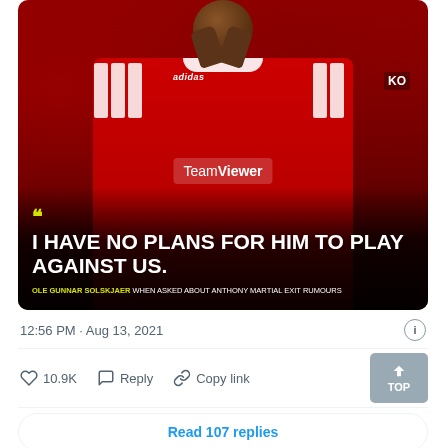[Figure (photo): A Manchester United footballer wearing a red Adidas jersey with TeamViewer sponsor, clapping hands together. The bottom portion has a dark gradient overlay with a quote in large white bold text. Yellow quotation marks appear above the quote. The quote reads: I HAVE NO PLANS FOR HIM TO PLAY AGAINST US. Attribution: OLE GUNNAR SOLSKJAER WHEN ASKED ABOUT ANTHONY MARTIAL EXIT RUMOURS.]
12:56 PM · Aug 13, 2021
10.9K   Reply   Copy link
Read 107 replies